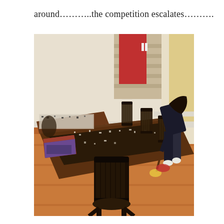around………..the competition escalates……….
[Figure (photo): Indoor dining room scene. A large wooden dining table is covered with a jigsaw puzzle board and puzzle pieces, along with the puzzle box. Several dark wooden Windsor-style chairs surround the table. In the background, a person dressed in dark clothing is bent over, holding a long-handled mop or cleaning tool on a hardwood floor. More puzzle pieces and another board are visible on a side table or counter in the background. The room has white walls and warm wood floors.]